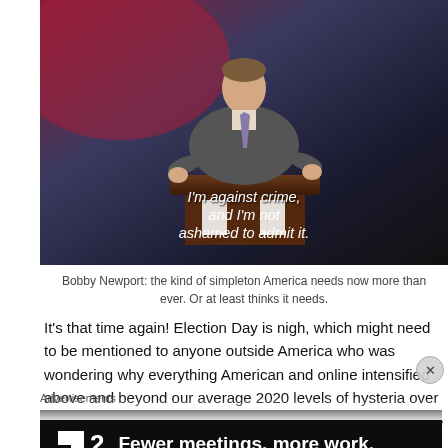[Figure (screenshot): Video screenshot of a man in a suit speaking at a podium with subtitle text reading: I'm against crime, and I'm not ashamed to admit it.]
Bobby Newport: the kind of simpleton America needs now more than ever. Or at least thinks it needs.
It's that time again! Election Day is nigh, which might need to be mentioned to anyone outside America who was wondering why everything American and online intensified above and beyond our average 2020 levels of hysteria over the past few days. Whatever happens Tuesday and over the next several days as
Advertisements
[Figure (screenshot): Advertisement banner with dark background showing logo icon, number 2, and text: Fewer meetings, more work.]